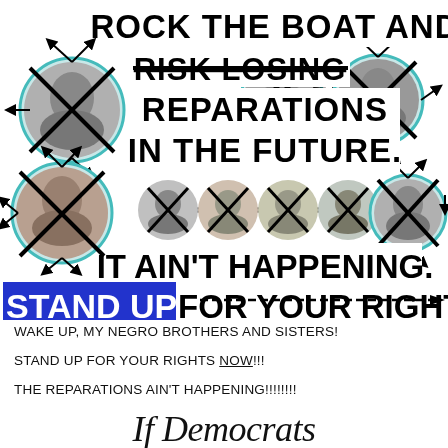[Figure (infographic): Political infographic showing crossed-out photos of politicians arranged around bold black-and-white text reading 'ROCK THE BOAT AND RISK LOSING REPARATIONS IN THE FUTURE. IT AIN'T HAPPENING. STAND UP FOR YOUR RIGHTS!!!' with photo circles connected by arrows and a blue highlight on 'STAND UP']
WAKE UP, MY NEGRO BROTHERS AND SISTERS!
STAND UP FOR YOUR RIGHTS NOW!!!
THE REPARATIONS AIN'T HAPPENING!!!!!!!!
If Democrats